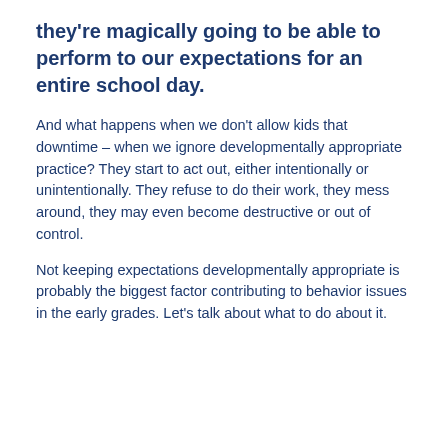they're magically going to be able to perform to our expectations for an entire school day.
And what happens when we don't allow kids that downtime – when we ignore developmentally appropriate practice? They start to act out, either intentionally or unintentionally. They refuse to do their work, they mess around, they may even become destructive or out of control.
Not keeping expectations developmentally appropriate is probably the biggest factor contributing to behavior issues in the early grades. Let's talk about what to do about it.